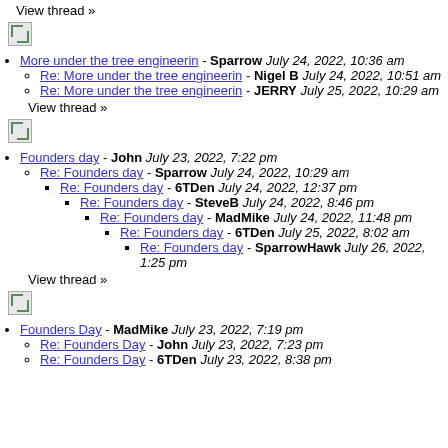View thread »
[Figure (illustration): Broken image icon]
More under the tree engineerin - Sparrow July 24, 2022, 10:36 am
Re: More under the tree engineerin - Nigel B July 24, 2022, 10:51 am
Re: More under the tree engineerin - JERRY July 25, 2022, 10:29 am
View thread »
[Figure (illustration): Broken image icon]
Founders day - John July 23, 2022, 7:22 pm
Re: Founders day - Sparrow July 24, 2022, 10:29 am
Re: Founders day - 6TDen July 24, 2022, 12:37 pm
Re: Founders day - SteveB July 24, 2022, 8:46 pm
Re: Founders day - MadMike July 24, 2022, 11:48 pm
Re: Founders day - 6TDen July 25, 2022, 8:02 am
Re: Founders day - SparrowHawk July 26, 2022, 1:25 pm
View thread »
[Figure (illustration): Broken image icon]
Founders Day - MadMike July 23, 2022, 7:19 pm
Re: Founders Day - John July 23, 2022, 7:23 pm
Re: Founders Day - 6TDen July 23, 2022, 8:38 pm